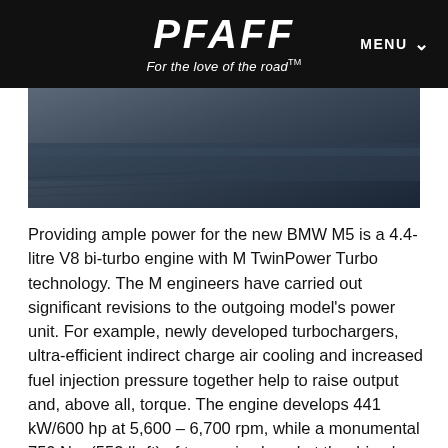PFAFF — For the love of the road™
[Figure (photo): Partial view of a BMW M5 car, dark bluish-grey tones, showing the side profile of the vehicle body on a road]
Providing ample power for the new BMW M5 is a 4.4-litre V8 bi-turbo engine with M TwinPower Turbo technology. The M engineers have carried out significant revisions to the outgoing model's power unit. For example, newly developed turbochargers, ultra-efficient indirect charge air cooling and increased fuel injection pressure together help to raise output and, above all, torque. The engine develops 441 kW/600 hp at 5,600 – 6,700 rpm, while a monumental 750 Nm (553 lb-ft) of torque is placed at the driver's disposal from as low down as 1,800 rpm and remains there until